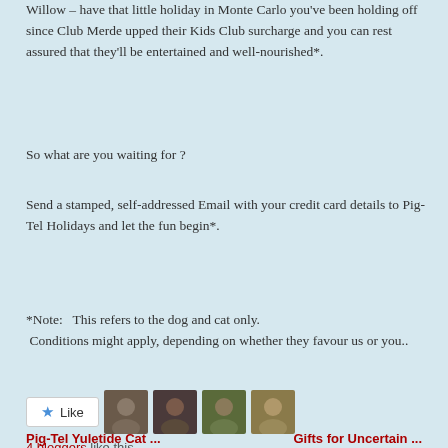Willow – have that little holiday in Monte Carlo you've been holding off since Club Merde upped their Kids Club surcharge and you can rest assured that they'll be entertained and well-nourished*.
So what are you waiting for ?
Send a stamped, self-addressed Email with your credit card details to Pig-Tel Holidays and let the fun begin*.
*Note:   This refers to the dog and cat only.
 Conditions might apply, depending on whether they favour us or you..
[Figure (infographic): A Like button with star icon and 4 blogger avatar thumbnails]
4 bloggers like this.
Pig-Tel Yuletide Cat ...    Gifts for Uncertain ...